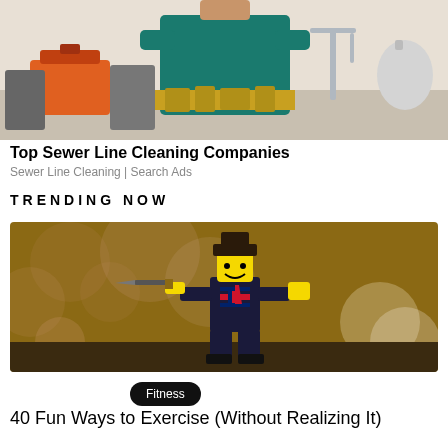[Figure (photo): Plumber/contractor standing with arms crossed, wearing tool belt, with toolbox and sink visible in background]
Top Sewer Line Cleaning Companies
Sewer Line Cleaning | Search Ads
TRENDING NOW
[Figure (photo): LEGO minifigure dressed in a British suit holding a knife/dagger, with bokeh background lighting]
Fitness
40 Fun Ways to Exercise (Without Realizing It)